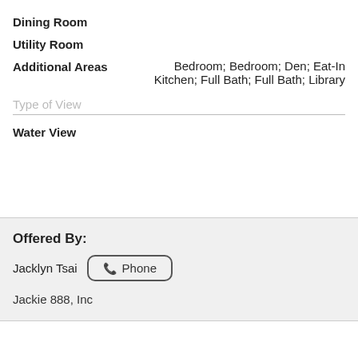Dining Room
Utility Room
Additional Areas: Bedroom; Bedroom; Den; Eat-In Kitchen; Full Bath; Full Bath; Library
Type of View
Water View
Offered By:
Jacklyn Tsai
Phone
Jackie 888, Inc